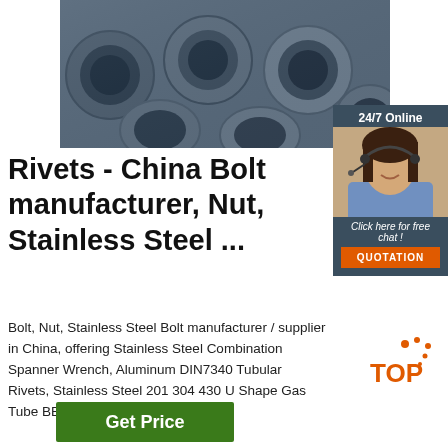[Figure (photo): Steel pipes/tubes stacked together, viewed from the end showing circular openings, dark metallic gray color]
[Figure (photo): Customer service agent, woman with dark hair wearing a headset and blue shirt, smiling, with '24/7 Online' banner and 'Click here for free chat!' text and orange QUOTATION button]
Rivets - China Bolt manufacturer, Nut, Stainless Steel ...
Bolt, Nut, Stainless Steel Bolt manufacturer / supplier in China, offering Stainless Steel Combination Spanner Wrench, Aluminum DIN7340 Tubular Rivets, Stainless Steel 201 304 430 U Shape Gas Tube BBQ Grill Burner and so on.
[Figure (logo): Orange 'TOP' badge with dots]
Get Price